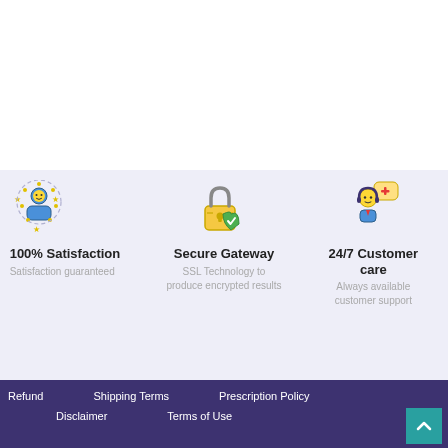[Figure (illustration): Icon of a person surrounded by stars in a circular arrangement (satisfaction icon)]
100% Satisfaction
Satisfaction guaranteed
[Figure (illustration): Icon of a padlock with a shield (secure gateway icon)]
Secure Gateway
SSL Technology to produce encrypted results
[Figure (illustration): Icon of a customer support agent with a headset and speech bubble with medical cross]
24/7 Customer care
Always available customer support
Refund   Shipping Terms   Prescription Policy   Disclaimer   Terms of Use